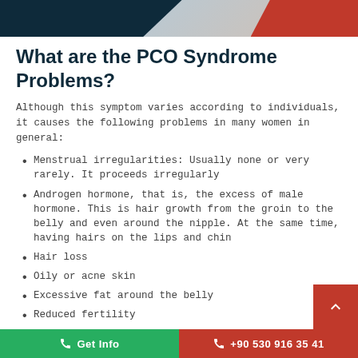[Figure (illustration): Website header banner with dark teal left section and red diagonal right section with a photo of a person]
What are the PCO Syndrome Problems?
Although this symptom varies according to individuals, it causes the following problems in many women in general:
Menstrual irregularities: Usually none or very rarely. It proceeds irregularly
Androgen hormone, that is, the excess of male hormone. This is hair growth from the groin to the belly and even around the nipple. At the same time, having hairs on the lips and chin
Hair loss
Oily or acne skin
Excessive fat around the belly
Reduced fertility
Get Info   +90 530 916 35 41